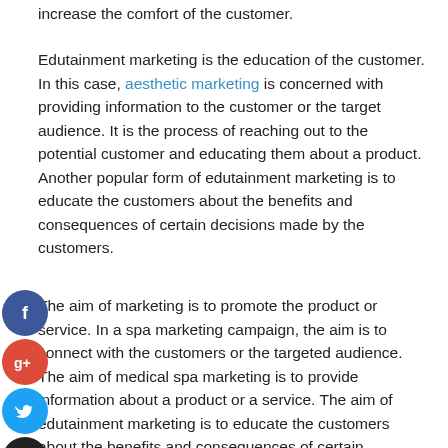increase the comfort of the customer.
Edutainment marketing is the education of the customer. In this case, aesthetic marketing is concerned with providing information to the customer or the target audience. It is the process of reaching out to the potential customer and educating them about a product. Another popular form of edutainment marketing is to educate the customers about the benefits and consequences of certain decisions made by the customers.
The aim of marketing is to promote the product or service. In a spa marketing campaign, the aim is to connect with the customers or the targeted audience. The aim of medical spa marketing is to provide information about a product or a service. The aim of edutainment marketing is to educate the customers about the benefits and consequences of certain decisions made by the customers. Both these forms of marketing are termed as information-based marketing.